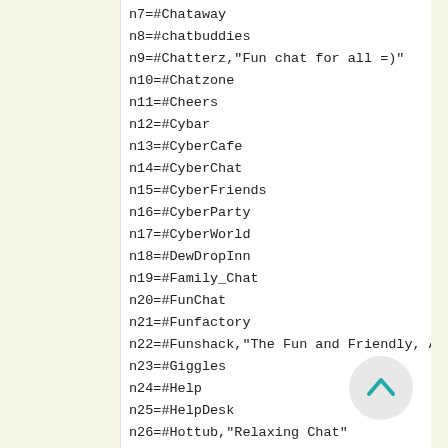n7=#Chataway
n8=#chatbuddies
n9=#Chatterz,"Fun chat for all =)"
n10=#Chatzone
n11=#Cheers
n12=#Cybar
n13=#CyberCafe
n14=#CyberChat
n15=#CyberFriends
n16=#CyberParty
n17=#CyberWorld
n18=#DewDropInn
n19=#Family_Chat
n20=#FunChat
n21=#Funfactory
n22=#Funshack,"The Fun and Friendly, All
n23=#Giggles
n24=#Help
n25=#HelpDesk
n26=#Hottub,"Relaxing Chat"
n27=#IRCAddicts
n28=#ircbar
n29=#irchelp,"General IRC Help"
n30=#irclub
n31=#ircnewbies,"IRC/mIRC Questions Answ
n32=#ircpassage
n33=#ircsupport
n34=#irctalk
n35=#IRCWavPlayers,"mIRC Wavs & Ascii"
n36=#JustChillin
n37=#mIRC,"Ask mIRC Questions Here! (ho
n38=#mIRC4Dummies
n39=#mIRC_Colors
n40=#mIRC_HelpDesk